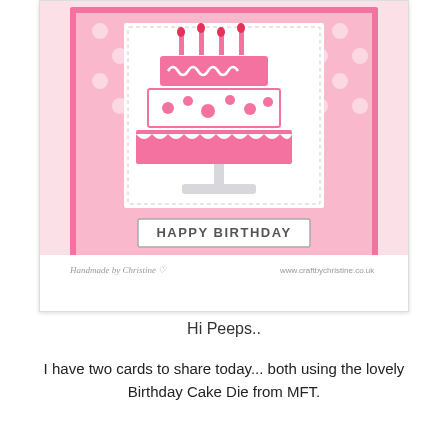[Figure (photo): A handmade birthday card featuring a three-tiered pink birthday cake with candles on a pink polka-dot background, with a 'HAPPY BIRTHDAY' banner at the bottom. Watermarks read 'Handmade by Christine' and 'www.craftbychristine.co.uk']
Hi Peeps..
I have two cards to share today... both using the lovely Birthday Cake Die from MFT.